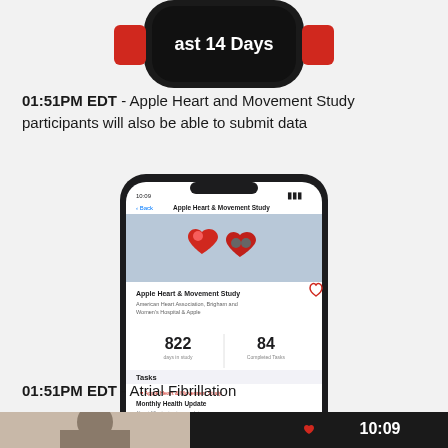[Figure (screenshot): Partial view of Apple Watch with red band showing text 'ast 14 Days' on screen]
01:51PM EDT - Apple Heart and Movement Study participants will also be able to submit data
[Figure (screenshot): iPhone screenshot showing the Apple Heart & Movement Study app with 822 days in study, 84 completed tasks, Tasks section with Monthly Health Update, and Updates section at bottom]
01:51PM EDT - Atrial Fibrillation
[Figure (screenshot): Bottom banner showing a woman presenter and Apple Watch face with heart icon and time 10:09]